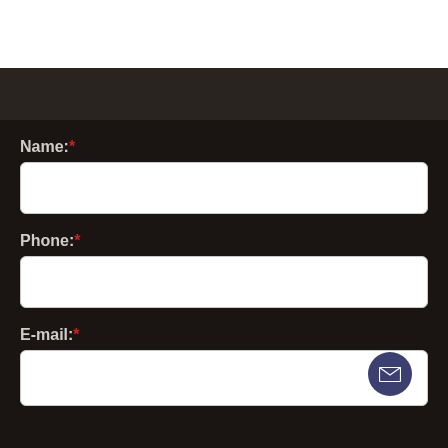Name:*
[Figure (other): Empty text input field for Name]
Phone:*
[Figure (other): Empty text input field for Phone]
E-mail:*
[Figure (other): Empty text input field for E-mail with mail button overlay]